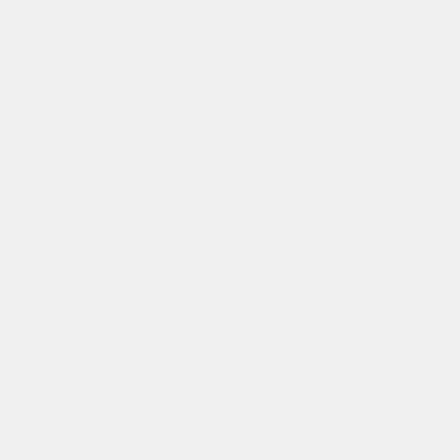29: 20: Cleanup links and add new exa
Last edited by Kyrusia on Mon Jul 01, 2019 7:13 pm, edited 70 times in total. Reason: Struck section regarding NSG